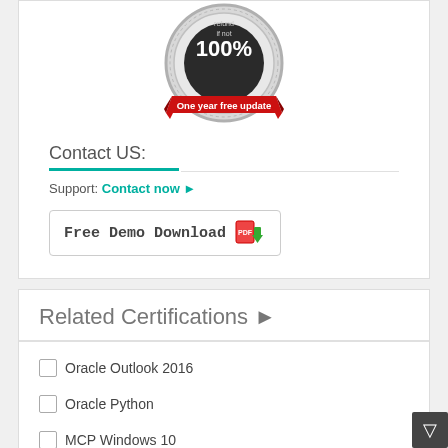[Figure (illustration): 100% money-back guarantee badge with red ribbon reading 'One year free update']
Contact US:
Support: Contact now ▶
[Figure (illustration): Free Demo Download button with PDF icon and green download arrow]
Related Certifications ▶
Oracle Outlook 2016
Oracle Python
MCP Windows 10